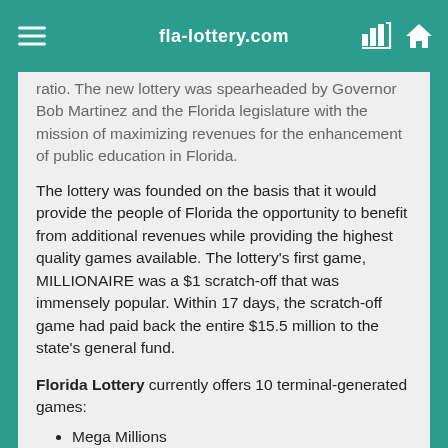fla-lottery.com
ratio. The new lottery was spearheaded by Governor Bob Martinez and the Florida legislature with the mission of maximizing revenues for the enhancement of public education in Florida.
The lottery was founded on the basis that it would provide the people of Florida the opportunity to benefit from additional revenues while providing the highest quality games available. The lottery's first game, MILLIONAIRE was a $1 scratch-off that was immensely popular. Within 17 days, the scratch-off game had paid back the entire $15.5 million to the state's general fund.
Florida Lottery currently offers 10 terminal-generated games:
Mega Millions
Powerball
Florida Lotto
Cash4Life
Fantasy 5
Jackpot Triple Play
Pick 5